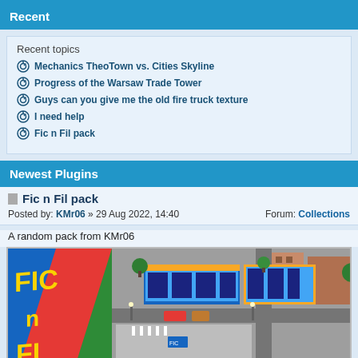Recent
Recent topics
Mechanics TheoTown vs. Cities Skyline
Progress of the Warsaw Trade Tower
Guys can you give me the old fire truck texture
I need help
Fic n Fil pack
Newest Plugins
Fic n Fil pack
Posted by: KMr06 » 29 Aug 2022, 14:40   Forum: Collections
A random pack from KMr06
[Figure (screenshot): Screenshot of the Fic n Fil pack for TheoTown game, showing colorful logo on the left with 'Fic n Fil' text in yellow on green/red/blue background, and an isometric city view on the right with commercial buildings, roads, trees and vehicles.]